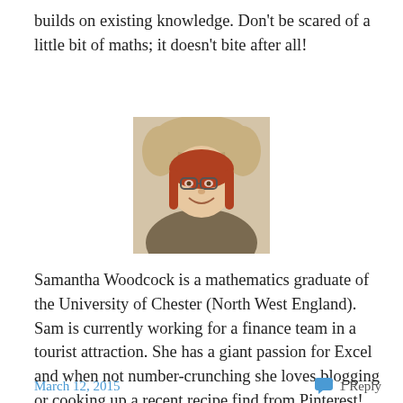builds on existing knowledge. Don’t be scared of a little bit of maths; it doesn’t bite after all!
[Figure (photo): Profile photo of Samantha Woodcock, a young woman with red hair and glasses wearing a furry winter hat and jacket, smiling.]
Samantha Woodcock is a mathematics graduate of the University of Chester (North West England). Sam is currently working for a finance team in a tourist attraction. She has a giant passion for Excel and when not number-crunching she loves blogging or cooking up a recent recipe find from Pinterest! You can follow her on Twitter (@samcantfindit) and read her blog here https://diaryofamathsstudent.wordpress.com/
March 12, 2015   1 Reply